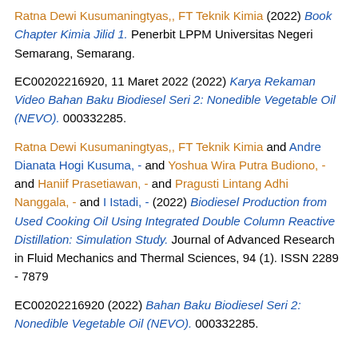Ratna Dewi Kusumaningtyas,, FT Teknik Kimia (2022) Book Chapter Kimia Jilid 1. Penerbit LPPM Universitas Negeri Semarang, Semarang.
EC00202216920, 11 Maret 2022 (2022) Karya Rekaman Video Bahan Baku Biodiesel Seri 2: Nonedible Vegetable Oil (NEVO). 000332285.
Ratna Dewi Kusumaningtyas,, FT Teknik Kimia and Andre Dianata Hogi Kusuma, - and Yoshua Wira Putra Budiono, - and Haniif Prasetiawan, - and Pragusti Lintang Adhi Nanggala, - and I Istadi, - (2022) Biodiesel Production from Used Cooking Oil Using Integrated Double Column Reactive Distillation: Simulation Study. Journal of Advanced Research in Fluid Mechanics and Thermal Sciences, 94 (1). ISSN 2289 - 7879
EC00202216920 (2022) Bahan Baku Biodiesel Seri 2: Nonedible Vegetable Oil (NEVO). 000332285.